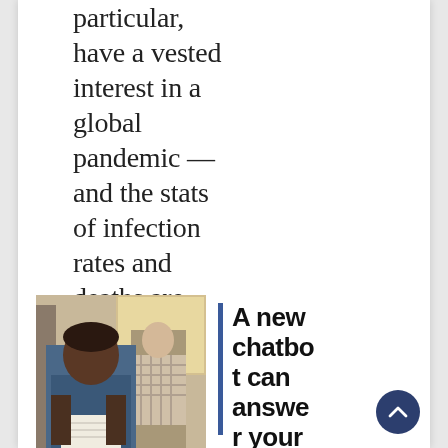particular, have a vested interest in a global pandemic — and the stats of infection rates and deaths are useful to them....
[Figure (photo): Two people standing indoors, one in foreground wearing a blue t-shirt holding papers, another in background in a checkered shirt]
A new chatbot can answer your awkward rd